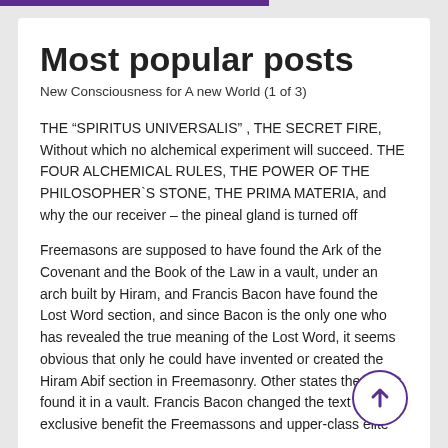Most popular posts
New Consciousness for A new World (1 of 3)
THE “SPIRITUS UNIVERSALIS” , THE SECRET FIRE, Without which no alchemical experiment will succeed. THE FOUR ALCHEMICAL RULES, THE POWER OF THE PHILOSOPHER‘S STONE, THE PRIMA MATERIA, and why the our receiver – the pineal gland is turned off
Freemasons are supposed to have found the Ark of the Covenant and the Book of the Law in a vault, under an arch built by Hiram, and Francis Bacon have found the Lost Word section, and since Bacon is the only one who has revealed the true meaning of the Lost Word, it seems obvious that only he could have invented or created the Hiram Abif section in Freemasonry. Other states they can’t found it in a vault. Francis Bacon changed the text to exclusive benefit the Freemassons and upper-class elite